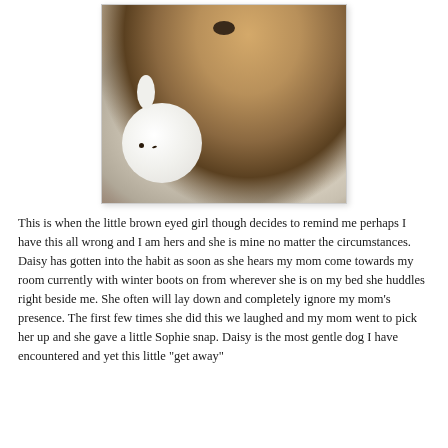[Figure (photo): A golden/light brown dog cuddling with a white stuffed bunny toy on a gray/beige blanket. The dog's face is close to the white plush toy which has simple black dot eyes.]
This is when the little brown eyed girl though decides to remind me perhaps I have this all wrong and I am hers and she is mine no matter the circumstances. Daisy has gotten into the habit as soon as she hears my mom come towards my room currently with winter boots on from wherever she is on my bed she huddles right beside me. She often will lay down and completely ignore my mom's presence. The first few times she did this we laughed and my mom went to pick her up and she gave a little Sophie snap. Daisy is the most gentle dog I have encountered and yet this little “get away”